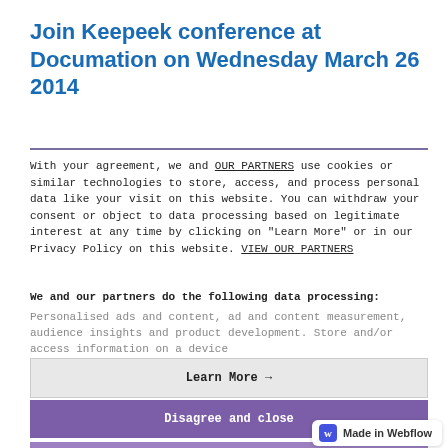Join Keepeek conference at Documation on Wednesday March 26 2014
With your agreement, we and OUR PARTNERS use cookies or similar technologies to store, access, and process personal data like your visit on this website. You can withdraw your consent or object to data processing based on legitimate interest at any time by clicking on "Learn More" or in our Privacy Policy on this website. VIEW OUR PARTNERS
We and our partners do the following data processing:
Personalised ads and content, ad and content measurement, audience insights and product development. Store and/or access information on a device
Learn More →
Disagree and close
Agree and close
[Figure (logo): Made in Webflow badge with blue W logo]